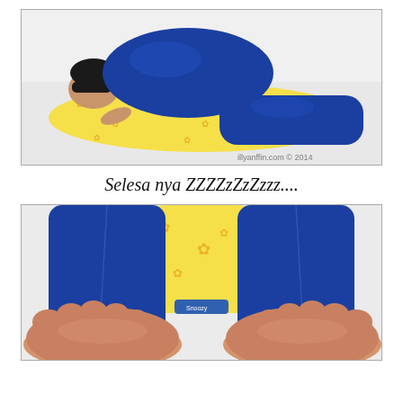[Figure (photo): A person wearing blue satin pajamas lying on their side on a white bed, hugging a large yellow body pillow with orange star/flower patterns. The person wears a sleep mask. Watermark reads 'illyanffin.com © 2014'.]
Selesa nya ZZZZzZzZzzz....
[Figure (photo): Close-up of two bare feet soles facing the camera, the person is wearing blue satin pajama bottoms and lying on a yellow star-patterned body pillow on a white surface.]